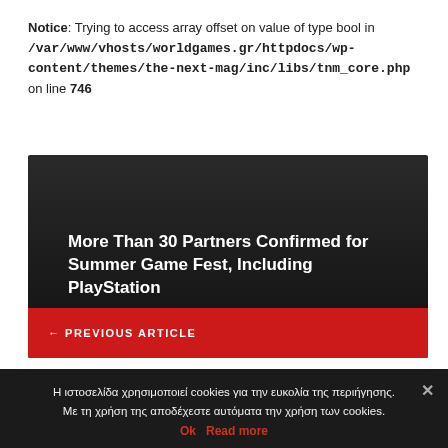Notice: Trying to access array offset on value of type bool in /var/www/vhosts/worldgames.gr/httpdocs/wp-content/themes/the-next-mag/inc/libs/tnm_core.php on line 746
[Figure (screenshot): Dark card with title 'More Than 30 Partners Confirmed for Summer Game Fest, Including PlayStation' and a red previous article bar at the bottom]
More Than 30 Partners Confirmed for Summer Game Fest, Including PlayStation
← PREVIOUS ARTICLE
Η ιστοσελίδα χρησιμοποιεί cookies για την ευκολία της περιήγησης. Με τη χρήση της αποδέχεστε αυτόματα την χρήση των cookies.
Ok Read more